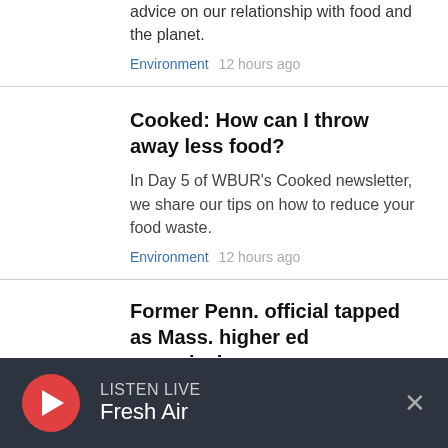advice on our relationship with food and the planet.
Environment  12 hours ago
Cooked: How can I throw away less food?
In Day 5 of WBUR's Cooked newsletter, we share our tips on how to reduce your food waste.
Environment  12 hours ago
Former Penn. official tapped as Mass. higher ed commissioner
The Board of Higher Education selected
LISTEN LIVE Fresh Air